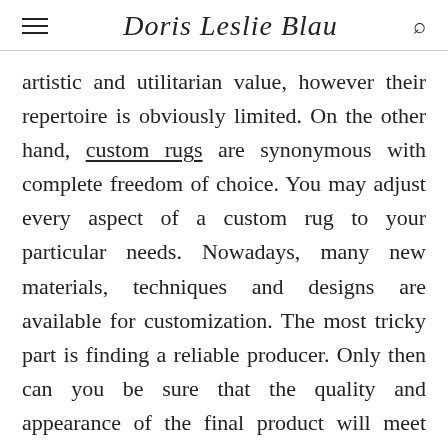Doris Leslie Blau
artistic and utilitarian value, however their repertoire is obviously limited. On the other hand, custom rugs are synonymous with complete freedom of choice. You may adjust every aspect of a custom rug to your particular needs. Nowadays, many new materials, techniques and designs are available for customization. The most tricky part is finding a reliable producer. Only then can you be sure that the quality and appearance of the final product will meet your exact requirements.